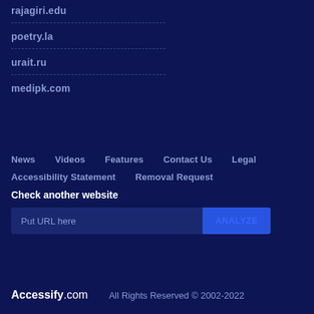rajagiri.edu
poetry.la
urait.ru
medipk.com
News   Videos   Features   Contact Us   Legal
Accessibility Statement   Removal Request
Check another website
Put URL here   ANALYZE
Accessify.com   All Rights Reserved © 2002-2022